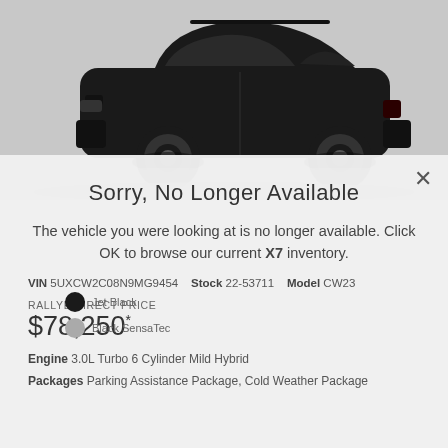[Figure (photo): Black BMW X7 SUV side profile on grey background]
Sorry, No Longer Available
The vehicle you were looking at is no longer available. Click OK to browse our current X7 inventory.
VIN 5UXCW2C08N9MG9454   Stock 22-53711   Model CW23
RALLYE DIRECT PRICE
$78,250*
Engine 3.0L Turbo 6 Cylinder Mild Hybrid
Packages Parking Assistance Package, Cold Weather Package